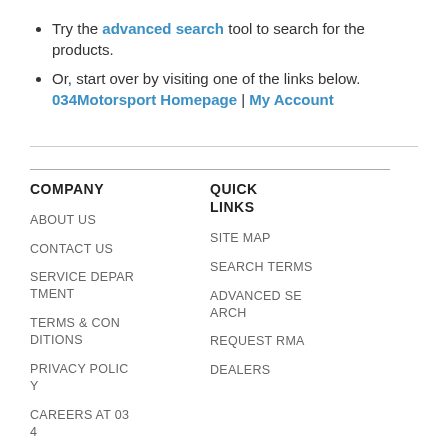Try the advanced search tool to search for the products.
Or, start over by visiting one of the links below.
034Motorsport Homepage | My Account
COMPANY
ABOUT US
CONTACT US
SERVICE DEPARTMENT
TERMS & CONDITIONS
PRIVACY POLICY
CAREERS AT 034
QUICK LINKS
SITE MAP
SEARCH TERMS
ADVANCED SEARCH
REQUEST RMA
DEALERS